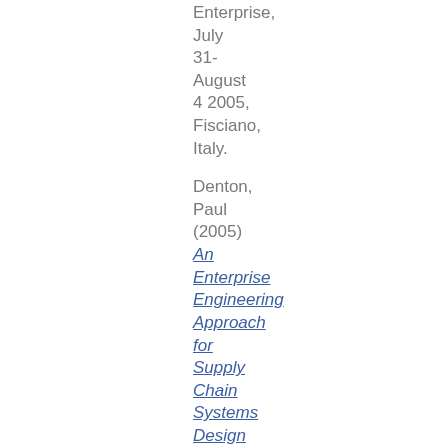Enterprise, July 31- August 4 2005, Fisciano, Italy.
Denton, Paul (2005)
An Enterprise Engineering Approach for Supply Chain Systems Design and